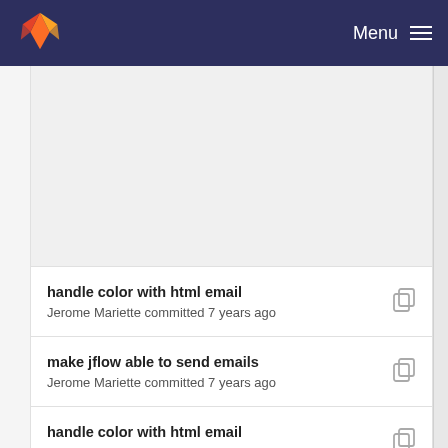Menu
handle color with html email — Jerome Mariette committed 7 years ago
make jflow able to send emails — Jerome Mariette committed 7 years ago
handle color with html email — Jerome Mariette committed 7 years ago
make jflow able to send emails